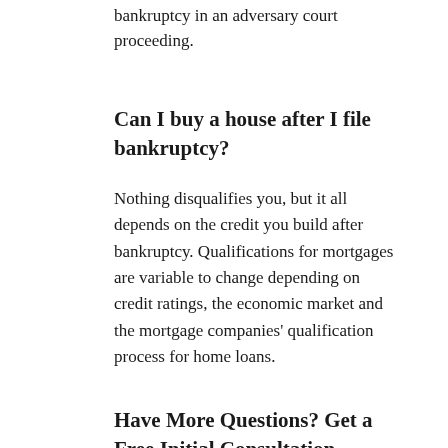bankruptcy in an adversary court proceeding.
Can I buy a house after I file bankruptcy?
Nothing disqualifies you, but it all depends on the credit you build after bankruptcy. Qualifications for mortgages are variable to change depending on credit ratings, the economic market and the mortgage companies' qualification process for home loans.
Have More Questions? Get a Free Initial Consultation.
If you are considering filing for bankruptcy or you